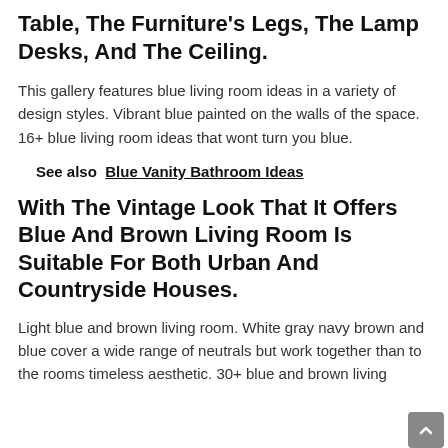Table, The Furniture's Legs, The Lamp Desks, And The Ceiling.
This gallery features blue living room ideas in a variety of design styles. Vibrant blue painted on the walls of the space. 16+ blue living room ideas that wont turn you blue.
See also  Blue Vanity Bathroom Ideas
With The Vintage Look That It Offers Blue And Brown Living Room Is Suitable For Both Urban And Countryside Houses.
Light blue and brown living room. White gray navy brown and blue cover a wide range of neutrals but work together than to the rooms timeless aesthetic. 30+ blue and brown living